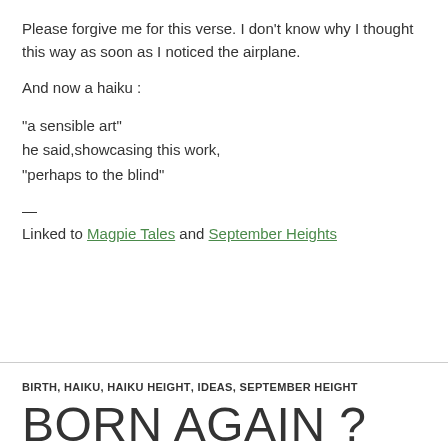Please forgive me for this verse. I don’t know why I thought this way as soon as I noticed the airplane.
And now a haiku :
“a sensible art”
he said,showcasing this work,
“perhaps to the blind”
—
Linked to Magpie Tales and September Heights
BIRTH, HAIKU, HAIKU HEIGHT, IDEAS, SEPTEMBER HEIGHT
BORN AGAIN ?